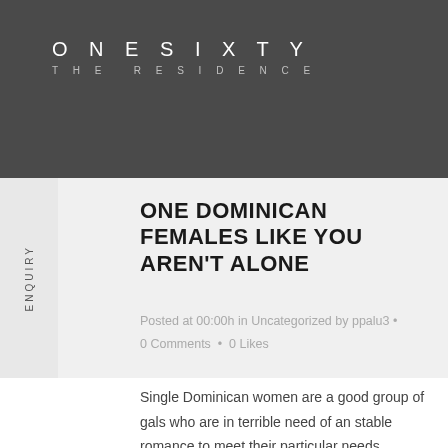ONESIXTY THE RESIDENCE
ONE DOMINICAN FEMALES LIKE YOU AREN'T ALONE
Posted at 00:00h in Uncategorized by ppalu3 • 0 Comments • 0 Likes
Single Dominican women are a good group of gals who are in terrible need of an stable romance to meet their particular needs designed for romance. These ladies, so, who are formerly from Puerto Rico, make such a fantastic